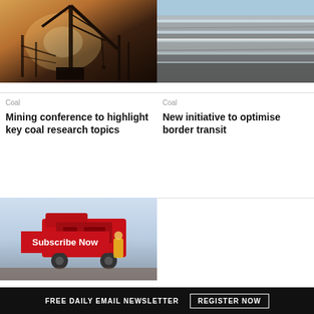[Figure (photo): Industrial crane/mining equipment silhouette against warm sunset light]
[Figure (photo): Grayscale photo of a rock face/cliff with layered strata]
Coal
Mining conference to highlight key coal research topics
Coal
New initiative to optimise border transit
[Figure (photo): Red heavy mining machinery with worker in high-visibility jacket]
Subscribe Now
FREE DAILY EMAIL NEWSLETTER   REGISTER NOW